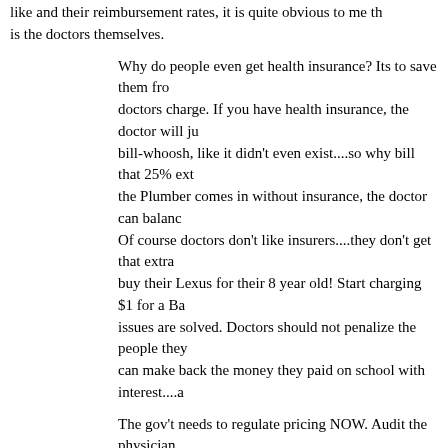like and their reimbursement rates, it is quite obvious to me that is the doctors themselves.
Why do people even get health insurance? Its to save them from doctors charge. If you have health insurance, the doctor will just bill-whoosh, like it didn't even exist....so why bill that 25% ext the Plumber comes in without insurance, the doctor can balance Of course doctors don't like insurers....they don't get that extra buy their Lexus for their 8 year old! Start charging $1 for a Ba issues are solved. Doctors should not penalize the people they can make back the money they paid on school with interest....a
The gov't needs to regulate pricing NOW. Audit the physician audited by someone middle-class or below, because Capitol Hi daughter's breast implants, regardless of medical necessity.
December 22, 2009 at 14:34 | Report abuse | Reply
3. Loretta
This bill is not yet complete, so we all just need to stay calm! those older Americans with a pre-existing condition. I have hea disability, and am worried, deeply worried, about my coverage If I had to "shop" for new coverage now, it would be a short, sl career was 25 yrs in the benefits industry, so I know the "game no company will take me on, and the drugs that I have the "luxu have now, will quickly be denied if I lose coverage and there